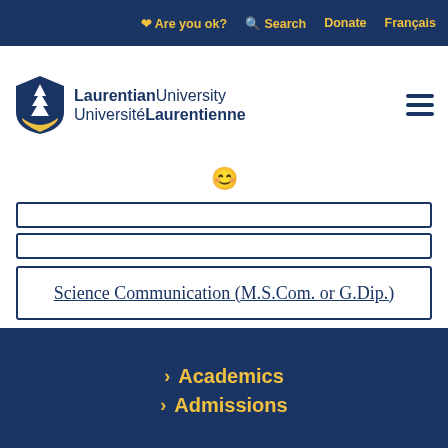Are you ok?  Search  Donate  Français
[Figure (logo): Laurentian University / Université Laurentienne shield logo with tree and gold base]
LaurentianUniversity UniversitéLaurentienne
Science Communication (M.S.Com. or G.Dip.)
Academics  Admissions